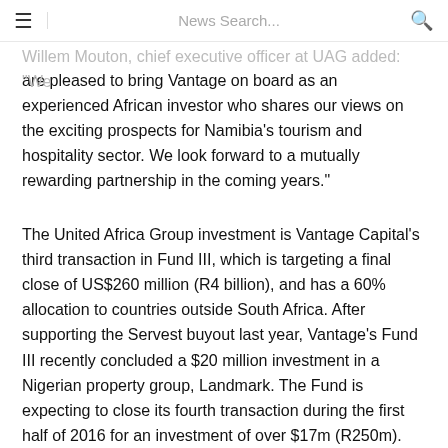≡  News Search...  🔍
Willem Mouton, chief executive officer at UAG added: "We are pleased to bring Vantage on board as an experienced African investor who shares our views on the exciting prospects for Namibia's tourism and hospitality sector. We look forward to a mutually rewarding partnership in the coming years."
The United Africa Group investment is Vantage Capital's third transaction in Fund III, which is targeting a final close of US$260 million (R4 billion), and has a 60% allocation to countries outside South Africa. After supporting the Servest buyout last year, Vantage's Fund III recently concluded a $20 million investment in a Nigerian property group, Landmark. The Fund is expecting to close its fourth transaction during the first half of 2016 for an investment of over $17m (R250m).